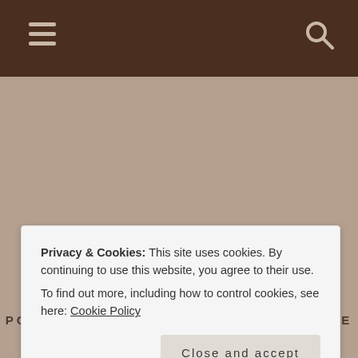Navigation bar with hamburger menu and search icon
JUST JOAN 42
POETRY AND STORIES ABOUT LIFE, THE UNIVERSE, AND EVERYTHING
Privacy & Cookies: This site uses cookies. By continuing to use this website, you agree to their use.
To find out more, including how to control cookies, see here: Cookie Policy
Close and accept